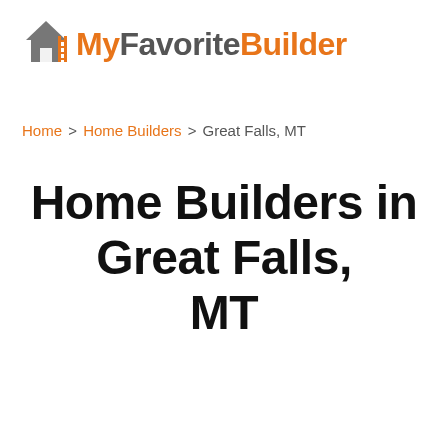[Figure (logo): MyFavoriteBuilder logo with house icon and text]
Home > Home Builders > Great Falls, MT
Home Builders in Great Falls, MT